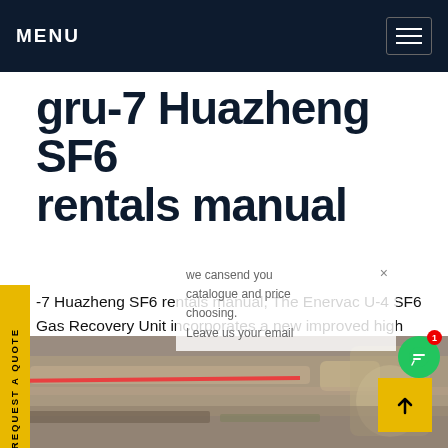MENU
gru-7 Huazheng SF6 rentals manual
-7 Huazheng SF6 rentals manual, The Enervac U-4 SF6 Gas Recovery Unit incorporates a new improved high pressure, totally oil-less compressor capable of 1000 psig (7 MPag) of pressure. This new technology allows for liquefaction SF6 gas even in the warmer climates typical of southern United States. The cart is ideally suited servicing small volume SF6 equipment.Get price
[Figure (photo): Photo of industrial equipment or piping, partially visible at the bottom of the page]